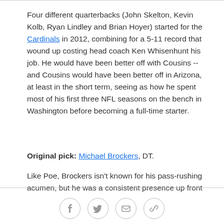Four different quarterbacks (John Skelton, Kevin Kolb, Ryan Lindley and Brian Hoyer) started for the Cardinals in 2012, combining for a 5-11 record that wound up costing head coach Ken Whisenhunt his job. He would have been better off with Cousins -- and Cousins would have been better off in Arizona, at least in the short term, seeing as how he spent most of his first three NFL seasons on the bench in Washington before becoming a full-time starter.
Original pick: Michael Brockers, DT.
Like Poe, Brockers isn't known for his pass-rushing acumen, but he was a consistent presence up front
Social share icons: Facebook, Twitter, Email, Link